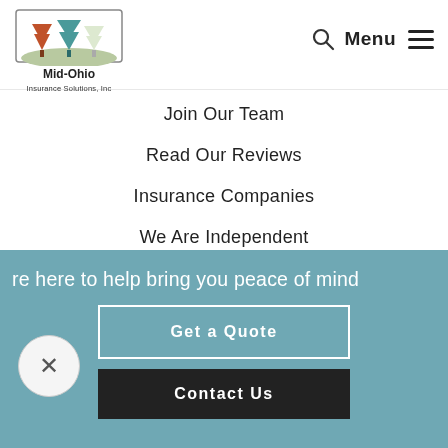[Figure (logo): Mid-Ohio Insurance Solutions, Inc. logo with three trees (orange, teal, white) in a rectangular frame above the company name]
Join Our Team
Read Our Reviews
Insurance Companies
We Are Independent
Get Help
re here to help bring you peace of mind
Get a Quote
Contact Us